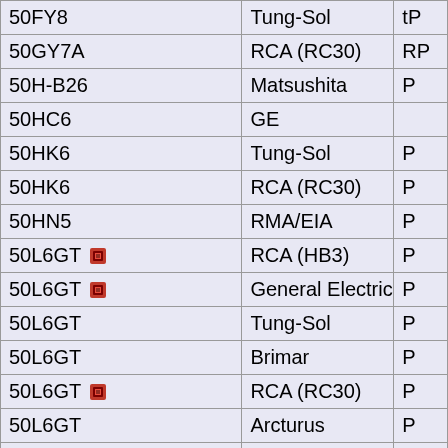| 50FY8 | Tung-Sol | tP |
| 50GY7A | RCA (RC30) | RP |
| 50H-B26 | Matsushita | P |
| 50HC6 | GE |  |
| 50HK6 | Tung-Sol | P |
| 50HK6 | RCA (RC30) | P |
| 50HN5 | RMA/EIA | P |
| 50L6GT [icon] | RCA (HB3) | P |
| 50L6GT [icon] | General Electric | P |
| 50L6GT | Tung-Sol | P |
| 50L6GT | Brimar | P |
| 50L6GT [icon] | RCA (RC30) | P |
| 50L6GT | Arcturus | P |
| 50RS20 | Tesla | Q~ |
| 50X6 | RCA (HB3) | rr |
| 50X6 | Tung-Sol | rr |
| 50Y6G | Tung-Sol | rr |